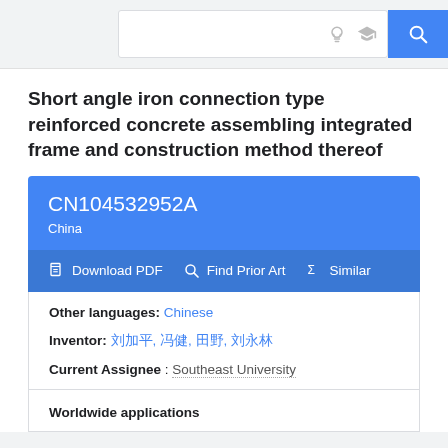Search bar with icons
Short angle iron connection type reinforced concrete assembling integrated frame and construction method thereof
CN104532952A
China
Download PDF  Find Prior Art  Similar
Other languages: Chinese
Inventor: 刘加平, 冯健, 田野, 刘永林
Current Assignee : Southeast University
Worldwide applications